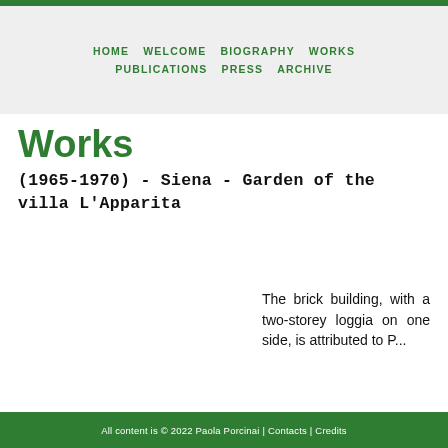HOME  WELCOME  BIOGRAPHY  WORKS  PUBLICATIONS  PRESS  ARCHIVE
Works
(1965-1970) - Siena - Garden of the villa L'Apparita
The brick building, with a two-storey loggia on one side, is attributed to P...
All content is © 2022 Paola Porcinai | Contacts | Credits